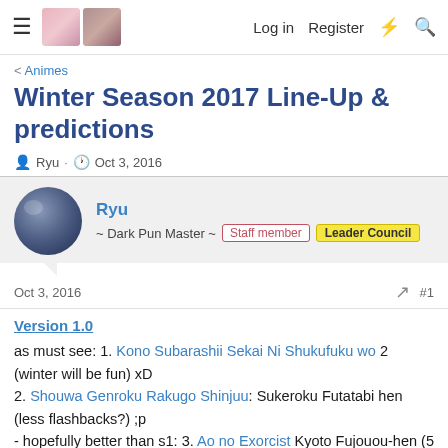≡  [avatars]  Log in  Register  ⚡  🔍
< Animes
Winter Season 2017 Line-Up & predictions
Ryu · Oct 3, 2016
Ryu ~ Dark Pun Master ~ Staff member Leader Council
Oct 3, 2016  #1
Version 1.0
as must see: 1. Kono Subarashii Sekai Ni Shukufuku wo 2 (winter will be fun) xD
2. Shouwa Genroku Rakugo Shinjuu: Sukeroku Futatabi hen (less flashbacks?) ;p
- hopefully better than s1: 3. Ao no Exorcist Kyoto Fujouou-hen (5 years later) :/
4. Rewrite 2nd Season: Moon-hen / Terra-hen (no more